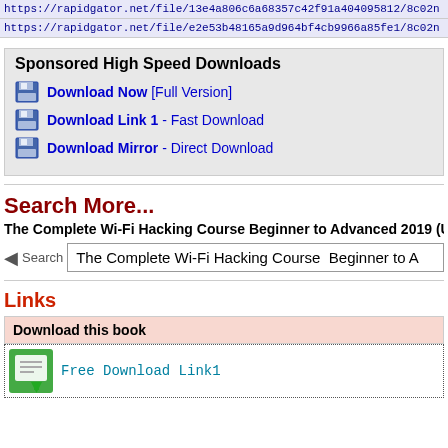https://rapidgator.net/file/13e4a806c6a68357c42f91a404095812/8c02n
https://rapidgator.net/file/e2e53b48165a9d964bf4cb9966a85fe1/8c02n
Sponsored High Speed Downloads
Download Now [Full Version]
Download Link 1 - Fast Download
Download Mirror - Direct Download
Search More...
The Complete Wi-Fi Hacking Course Beginner to Advanced 2019 (Up
The Complete Wi-Fi Hacking Course  Beginner to A
Links
Download this book
Free Download Link1